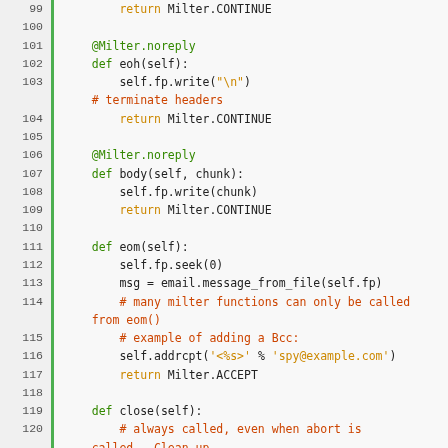[Figure (screenshot): Python source code snippet showing lines 99-130 of a Milter class with syntax highlighting. Green vertical bar separates line numbers from code. Keywords in orange, comments in red-orange, decorators in green, strings in orange.]